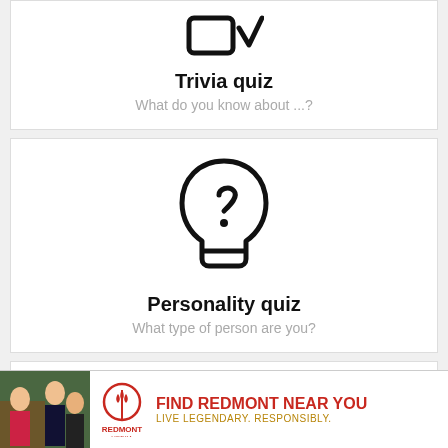[Figure (illustration): Trivia quiz icon: checkbox with checkmark]
Trivia quiz
What do you know about ...?
[Figure (illustration): Personality quiz icon: side profile of head with question mark inside]
Personality quiz
What type of person are you?
[Figure (illustration): Partially visible icon: circles/dots pattern]
[Figure (photo): Ad photo: people socializing]
REDMONT VODKA — FIND REDMONT NEAR YOU — LIVE LEGENDARY. RESPONSIBLY.